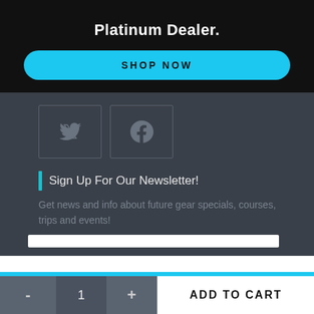Platinum Dealer.
SHOP NOW
[Figure (illustration): Twitter bird icon in a square border box]
[Figure (illustration): Facebook icon in a square border box]
Sign Up For Our Newsletter!
Get news and info about future gear specials, courses, trips and events!
All orders ship free! *Please contact us to make sure we have your item in stock and ready to ship.
- 1 + ADD TO CART